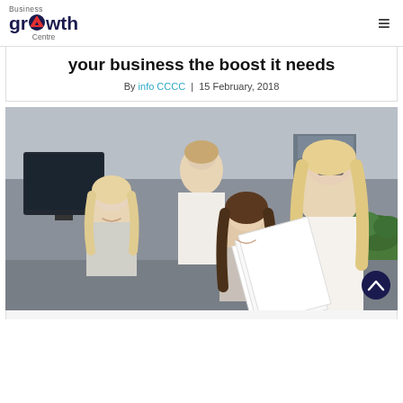Business Growth Centre
your business the boost it needs
By info CCCC | 15 February, 2018
[Figure (photo): Office scene with four business professionals looking at documents together. A woman with blonde hair wearing a white blazer holds papers while three colleagues — another blonde woman, a man in a white shirt, and a woman with dark hair — look on and smile.]